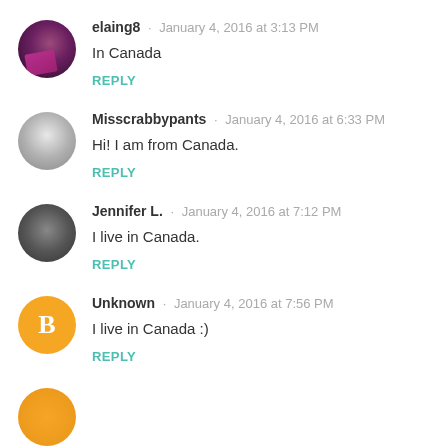elaing8 · January 4, 2016 at 3:13 PM
In Canada
REPLY
Misscrabbypants · January 4, 2016 at 6:33 PM
Hi! I am from Canada.
REPLY
Jennifer L. · January 4, 2016 at 7:12 PM
I live in Canada.
REPLY
Unknown · January 4, 2016 at 7:56 PM
I live in Canada :)
REPLY